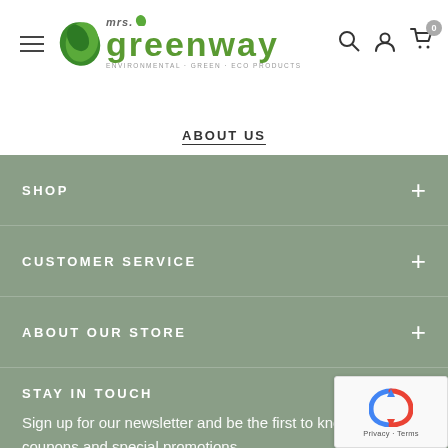[Figure (logo): Mrs. Greenway logo with green leaf icons, brand name in green bold text, and tagline 'Environmental · Green · Eco Products']
hamburger menu icon, search icon, user icon, cart icon with badge 0
ABOUT US
SHOP +
CUSTOMER SERVICE +
ABOUT OUR STORE +
STAY IN TOUCH
Sign up for our newsletter and be the first to know about coupons and special promotions.